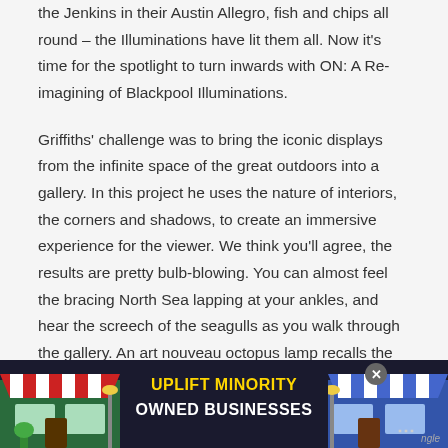the Jenkins in their Austin Allegro, fish and chips all round – the Illuminations have lit them all. Now it's time for the spotlight to turn inwards with ON: A Re-imagining of Blackpool Illuminations.
Griffiths' challenge was to bring the iconic displays from the infinite space of the great outdoors into a gallery. In this project he uses the nature of interiors, the corners and shadows, to create an immersive experience for the viewer. We think you'll agree, the results are pretty bulb-blowing. You can almost feel the bracing North Sea lapping at your ankles, and hear the screech of the seagulls as you walk through the gallery. An art nouveau octopus lamp recalls the Illuminations early
[Figure (infographic): Advertisement banner: 'UPLIFT MINORITY OWNED BUSINESSES' with illustrated store fronts on either side, dark blue background, yellow and white text.]